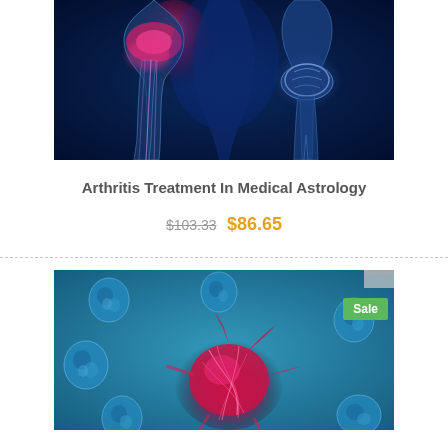[Figure (photo): Medical illustration of arthritis — glowing pink/red highlighted joint bones (hip and knee) on a dark blue background, X-ray style]
Arthritis Treatment In Medical Astrology
$103.33 $86.65
[Figure (photo): Medical illustration of cancer cells — pink/red irregular cancer cell surrounded by blue immune cells on a teal/blue background, with a green Sale badge in the upper right corner]